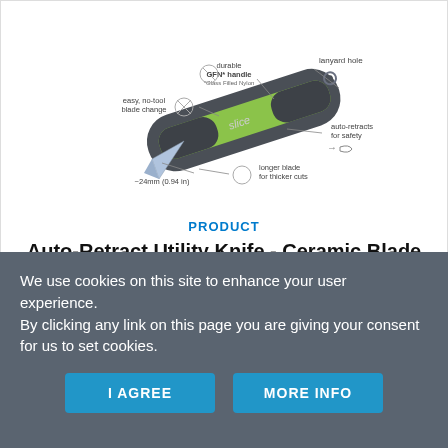[Figure (illustration): Auto-retract utility knife with ceramic blade shown from the side with callout labels: lanyard hole, durable GFN* handle (*Glass Filled Nylon), easy no-tool blade change, auto-retracts for safety, ~24mm (0.94 in) blade, longer blade for thicker cuts.]
PRODUCT
Auto-Retract Utility Knife - Ceramic Blade
We use cookies on this site to enhance your user experience.
By clicking any link on this page you are giving your consent for us to set cookies.